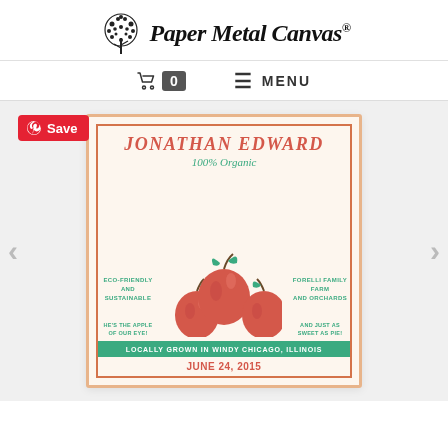[Figure (logo): Paper Metal Canvas logo with tree illustration and script text]
0  MENU
[Figure (illustration): Product card for Jonathan Edward 100% Organic apple-themed birth announcement. ECO-FRIENDLY AND SUSTAINABLE, FORELLI FAMILY FARM AND ORCHARDS, HE'S THE APPLE OF OUR EYE!, AND JUST AS SWEET AS PIE!, LOCALLY GROWN IN WINDY CHICAGO, ILLINOIS, JUNE 24, 2015]
Save